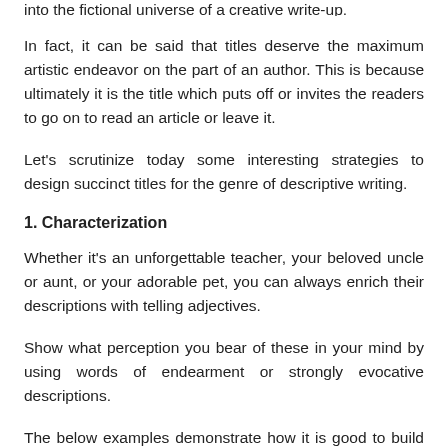into the fictional universe of a creative write-up.
In fact, it can be said that titles deserve the maximum artistic endeavor on the part of an author. This is because ultimately it is the title which puts off or invites the readers to go on to read an article or leave it.
Let's scrutinize today some interesting strategies to design succinct titles for the genre of descriptive writing.
1. Characterization
Whether it's an unforgettable teacher, your beloved uncle or aunt, or your adorable pet, you can always enrich their descriptions with telling adjectives.
Show what perception you bear of these in your mind by using words of endearment or strongly evocative descriptions.
The below examples demonstrate how it is good to build on your character using rich vocabulary: